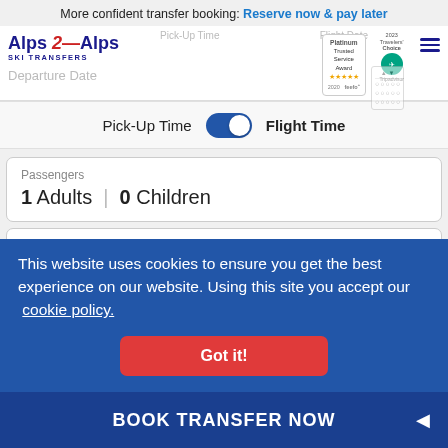More confident transfer booking: Reserve now & pay later
[Figure (screenshot): Alps2Alps Ski Transfers website header with logo, Feefo Platinum Trusted Service Award 2020 badge, TripAdvisor Travelers Choice badge, hamburger menu, and partially visible Pick-Up Time / Flight Date fields and departure date input]
Pick-Up Time  [toggle]  Flight Time
Passengers
1 Adults | 0 Children
Returning Passengers
1 Adults | 0 Children
This website uses cookies to ensure you get the best experience on our website. Using this site you accept our cookie policy.
Got it!
QUOTE ME NOW
BOOK TRANSFER NOW